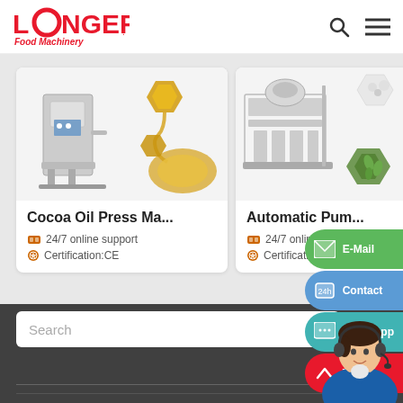LONGER Food Machinery
[Figure (screenshot): Product card: Cocoa Oil Press Machine with machine image and oil images]
Cocoa Oil Press Ma...
24/7 online support
Certification:CE
[Figure (screenshot): Product card: Automatic Pump machine with seeds/nuts images]
Automatic Pum...
24/7 online support
Certification:CE
[Figure (infographic): Side contact buttons: E-Mail (green), Contact (blue), Whatsapp (teal), TOP (red)]
Search
[Figure (illustration): Customer service agent avatar with headset]